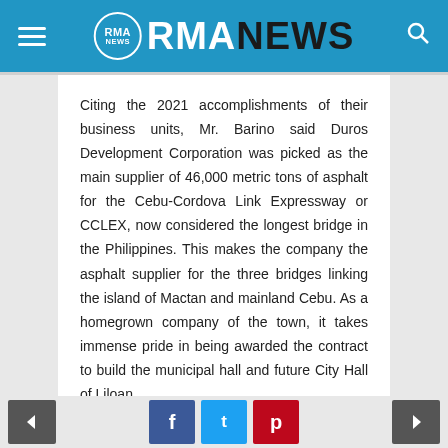RMA NEWS
Citing the 2021 accomplishments of their business units, Mr. Barino said Duros Development Corporation was picked as the main supplier of 46,000 metric tons of asphalt for the Cebu-Cordova Link Expressway or CCLEX, now considered the longest bridge in the Philippines. This makes the company the asphalt supplier for the three bridges linking the island of Mactan and mainland Cebu. As a homegrown company of the town, it takes immense pride in being awarded the contract to build the municipal hall and future City Hall of Liloan.
The Duros Land Properties, Inc., on the other hand, celebrated its 10th year in the real estate